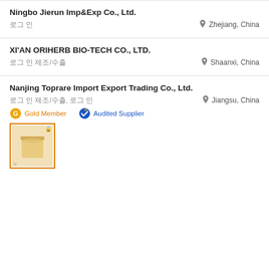Ningbo Jierun Imp&Exp Co., Ltd.
로그 인
Zhejiang, China
XI'AN ORIHERB BIO-TECH CO., LTD.
로그 인 제조/수출
Shaanxi, China
Nanjing Toprare Import Export Trading Co., Ltd.
로그 인 제조/수출, 로그 인
Jiangsu, China
Gold Member
Audited Supplier
[Figure (photo): Product thumbnail showing a cup or container of light tan/cream colored powder substance]